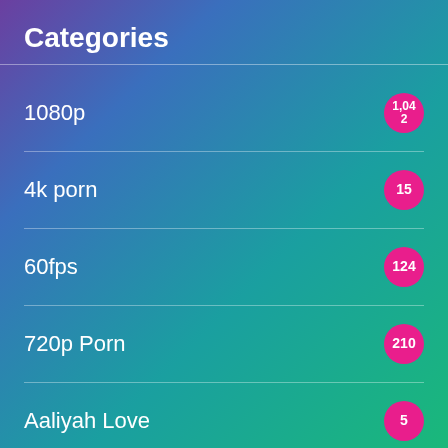Categories
1080p
4k porn
60fps
720p Porn
Aaliyah Love
Abby Somers